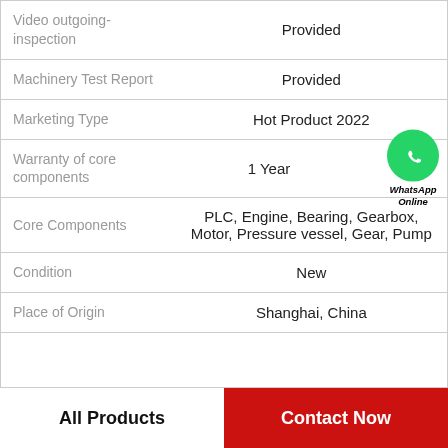| Field | Value |
| --- | --- |
| Video outgoing-inspection | Provided |
| Machinery Test Report | Provided |
| Marketing Type | Hot Product 2022 |
| Warranty of core components | 1 Year |
| Core Components | PLC, Engine, Bearing, Gearbox, Motor, Pressure vessel, Gear, Pump |
| Condition | New |
| Place of Origin | Shanghai, China |
All Products
Contact Now